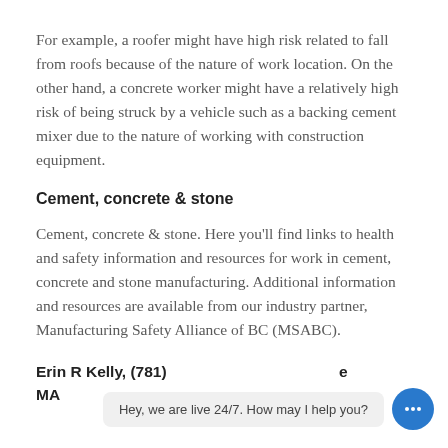For example, a roofer might have high risk related to fall from roofs because of the nature of work location. On the other hand, a concrete worker might have a relatively high risk of being struck by a vehicle such as a backing cement mixer due to the nature of working with construction equipment.
Cement, concrete & stone
Cement, concrete & stone. Here you'll find links to health and safety information and resources for work in cement, concrete and stone manufacturing. Additional information and resources are available from our industry partner, Manufacturing Safety Alliance of BC (MSABC).
Erin R Kelly, (781) ... MA